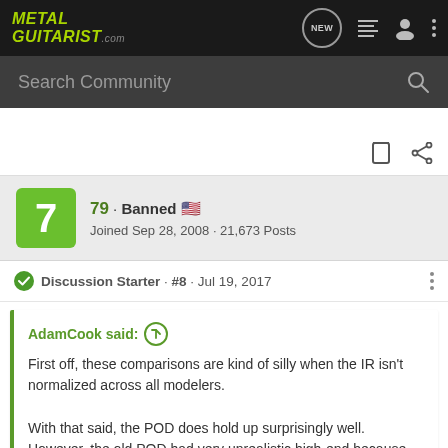[Figure (screenshot): MetalGuitarist.com website navigation bar with logo, NEW button, list icon, user icon, and more options icon]
Search Community
79 · Banned 🇺🇸 Joined Sep 28, 2008 · 21,673 Posts
Discussion Starter · #8 · Jul 19, 2017
AdamCook said: ↑
First off, these comparisons are kind of silly when the IR isn't normalized across all modelers.

With that said, the POD does hold up surprisingly well. However, the old POD had very unrealistic high-end because they just didn't have